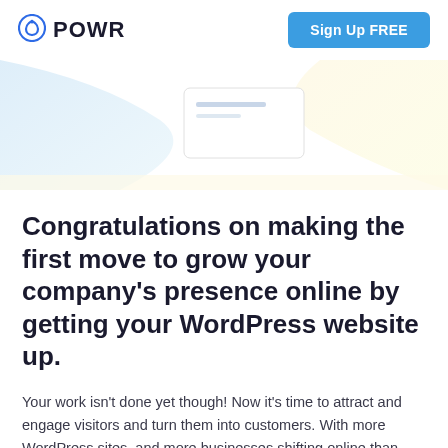POWR  Sign Up FREE
[Figure (illustration): Decorative hero banner with soft blue and yellow gradient waves and a small form/card UI element in the center]
Congratulations on making the first move to grow your company's presence online by getting your WordPress website up.
Your work isn't done yet though! Now it's time to attract and engage visitors and turn them into customers. With more WordPress sites, and more businesses shifting online than ever, competition is strong. People have a 2.5 second attention span